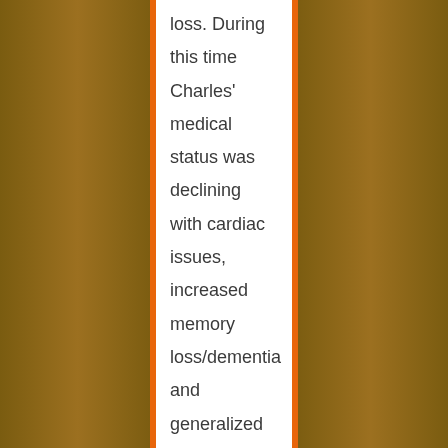loss. During this time Charles' medical status was declining with cardiac issues, increased memory loss/dementia and generalized weakness. With an increase in their care needs, it became necessary to have an additional night time awake shift so that the 24 hour caregiver could get